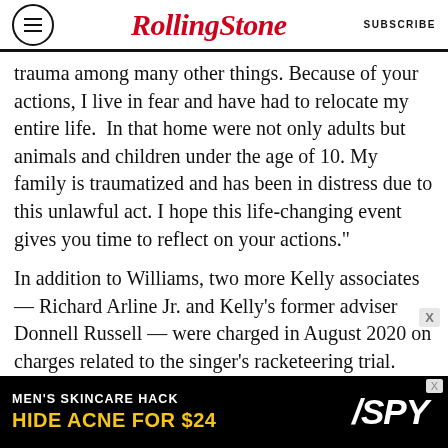RollingStone | SUBSCRIBE
trauma among many other things. Because of your actions, I live in fear and have had to relocate my entire life.  In that home were not only adults but animals and children under the age of 10. My family is traumatized and has been in distress due to this unlawful act. I hope this life-changing event gives you time to reflect on your actions."
In addition to Williams, two more Kelly associates — Richard Arline Jr. and Kelly's former adviser Donnell Russell — were charged in August 2020 on charges related to the singer's racketeering trial. Kelly was found guilty on all counts of racketeering, sexual exploitation of a child, and
[Figure (other): Advertisement banner: MEN'S SKINCARE HACK / HIDE ACNE FOR $24 with SPY logo]